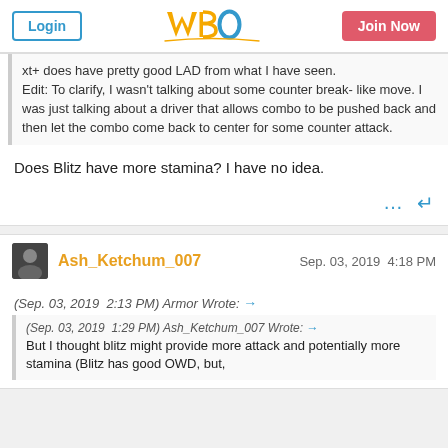WBO forum header with Login and Join Now buttons
xt+ does have pretty good LAD from what I have seen. Edit: To clarify, I wasn't talking about some counter break- like move. I was just talking about a driver that allows combo to be pushed back and then let the combo come back to center for some counter attack.
Does Blitz have more stamina? I have no idea.
Ash_Ketchum_007   Sep. 03, 2019  4:18 PM
(Sep. 03, 2019  2:13 PM) Armor Wrote: →
(Sep. 03, 2019  1:29 PM) Ash_Ketchum_007 Wrote: → But I thought blitz might provide more attack and potentially more stamina (Blitz has good OWD, but,